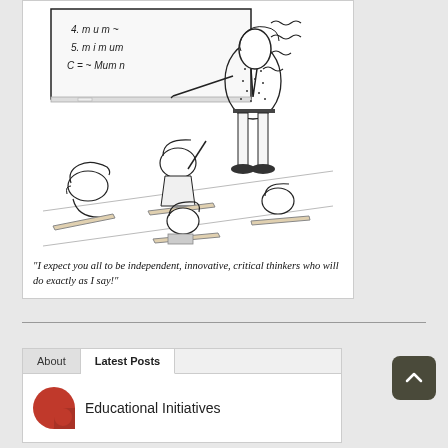[Figure (illustration): Black and white cartoon illustration of a classroom scene. A teacher stands at a chalkboard with writing on it (items 4, 5, C visible). Several students are seated at desks facing the teacher. The style is a hand-drawn pen-and-ink editorial cartoon.]
“I expect you all to be independent, innovative, critical thinkers who will do exactly as I say!”
[Figure (logo): Red partial circular logo/icon for Educational Initiatives, partially visible at bottom left.]
Educational Initiatives